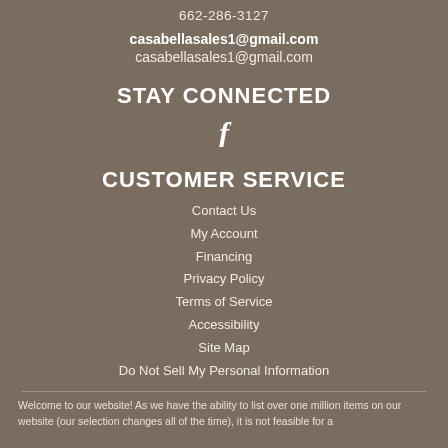662-286-3127
casabellasales1@gmail.com
casabellasales1@gmail.com
STAY CONNECTED
[Figure (illustration): Facebook logo icon (stylized letter f)]
CUSTOMER SERVICE
Contact Us
My Account
Financing
Privacy Policy
Terms of Service
Accessibility
Site Map
Do Not Sell My Personal Information
Welcome to our website! As we have the ability to list over one million items on our website (our selection changes all of the time), it is not feasible for a